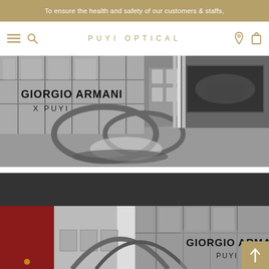To ensure the health and safety of our customers & staffs,
[Figure (screenshot): Puyi Optical website navigation bar with hamburger menu, search icon, PUYI OPTICAL logo centered, and location/cart icons on the right]
[Figure (photo): Giorgio Armani X Puyi installation art showing large circular metal ring sculptures on a dark gallery floor, with large windows and framed photos on wall in black and white]
[Figure (photo): Giorgio Armani Puyi collaboration interior showing dark ceiling, red wall panel, framed artworks, circular frame sculpture, and Giorgio Armani Puyi logo text on wall, with large windows]